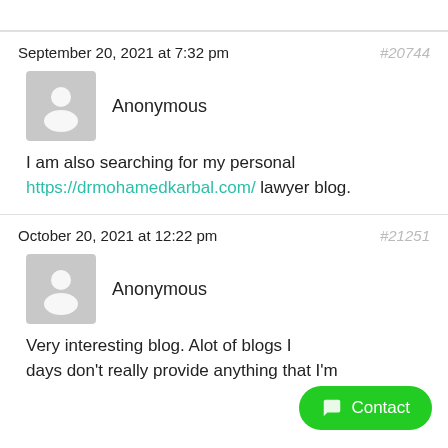September 20, 2021 at 7:32 pm
#20744
Anonymous
I am also searching for my personal https://drmohamedkarbal.com/ lawyer blog.
October 20, 2021 at 12:22 pm
#21251
Anonymous
Very interesting blog. Alot of blogs I days don't really provide anything that I'm